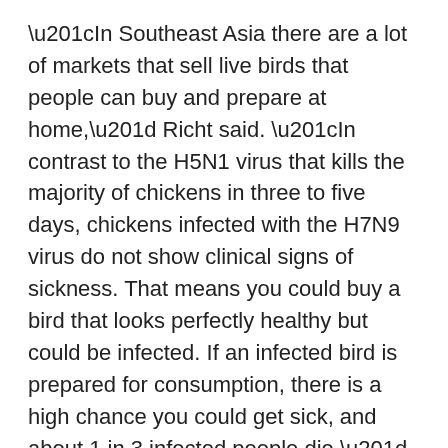“In Southeast Asia there are a lot of markets that sell live birds that people can buy and prepare at home,” Richt said. “In contrast to the H5N1 virus that kills the majority of chickens in three to five days, chickens infected with the H7N9 virus do not show clinical signs of sickness. That means you could buy a bird that looks perfectly healthy but could be infected. If an infected bird is prepared for consumption, there is a high chance you could get sick, and about 1 in 3 infected people die.”
Using the same method for developing the H5N1 vaccine, researchers inserted a small section of the H7N9 virus into the Newcastle disease virus vaccine. Chickens given this recombinant vaccine were protected against the Newcastle disease virus and H7N9.
“We believe this Newcastle disease virus concept works very well for poultry because you kill two birds with one